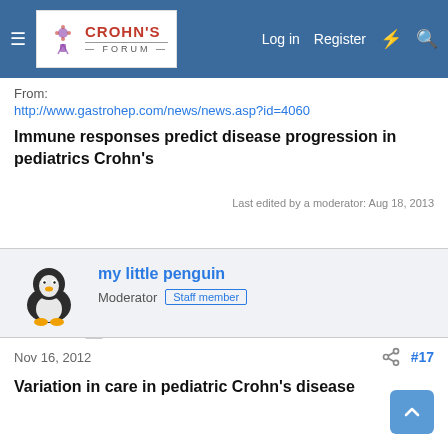[Figure (logo): Crohn's Forum website header navigation bar with logo, Log in, Register, and search icons]
From:
http://www.gastrohep.com/news/news.asp?id=4060
Immune responses predict disease progression in pediatrics Crohn's
Last edited by a moderator: Aug 18, 2013
[Figure (photo): Penguin avatar for user my little penguin]
my little penguin
Moderator   Staff member
Nov 16, 2012
#17
Variation in care in pediatric Crohn's disease